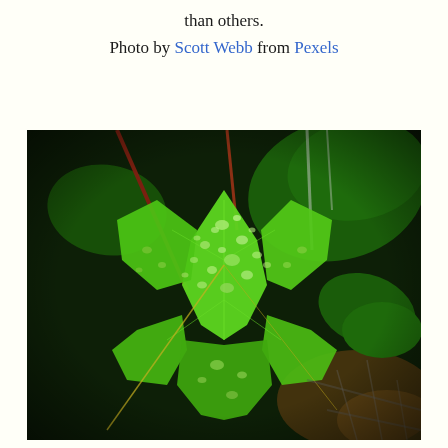than others.
Photo by Scott Webb from Pexels
[Figure (photo): Close-up photograph of bright green ivy leaves covered in water droplets, with a dark background. The leaves have a star-like lobed shape. Photo by Scott Webb from Pexels.]